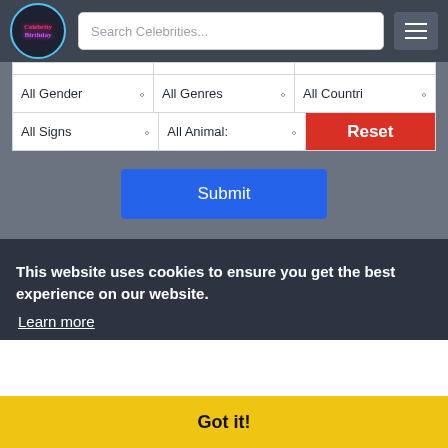[Figure (screenshot): Celebrity Birthday website header with logo, search bar, and hamburger menu]
[Figure (screenshot): Filter dropdowns: All Genders, All Genres, All Countries, All Signs, All Animals, Reset button, and Submit button]
This website uses cookies to ensure you get the best experience on our website.
Learn more
Got it!